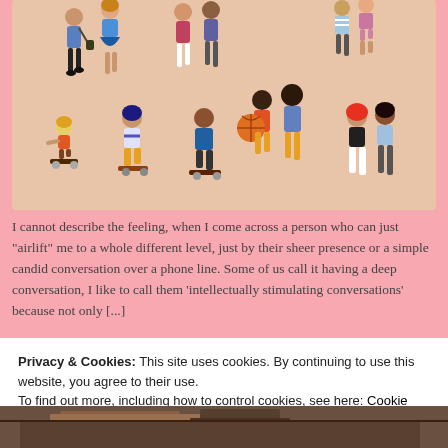[Figure (illustration): Colorful flat-style illustration on a peach/beige background showing diverse groups of people: couples walking, skateboarders, children playing with a ball, and friends chatting.]
I cannot describe the feeling, when I come across a person who can just "airlift" me to a whole different level, just by their sheer presence or a simple candid conversation over a phone line. Some of us call it having a deep conversation, I like to call them 'intellectually stimulating conversations' because not only [...]
Privacy & Cookies: This site uses cookies. By continuing to use this website, you agree to their use.
To find out more, including how to control cookies, see here: Cookie Policy

Close and accept
[Figure (photo): Partial photo at the bottom of the page showing what appears to be books or notebooks on a wooden surface.]